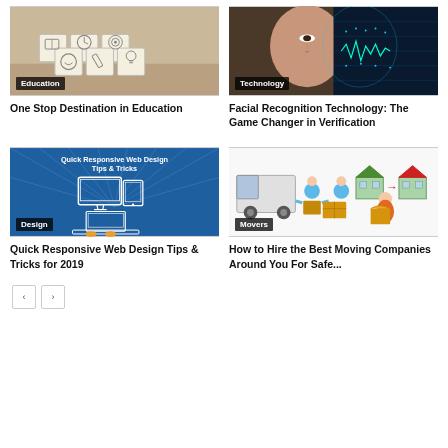[Figure (photo): Wooden blocks with educational icons stacked on a table]
Education
One Stop Destination in Education
[Figure (photo): Woman's face split between human and digital/AI overlay with technology theme]
Technology
Facial Recognition Technology: The Game Changer in Verification
[Figure (illustration): Blue infographic showing Quick Responsive Web Design Tips & Tricks with laptop, monitor, and tablet devices]
Design
Quick Responsive Web Design Tips & Tricks for 2019
[Figure (illustration): Cartoon illustration of movers with boxes, truck, and houses]
Movers
How to Hire the Best Moving Companies Around You For Safe...